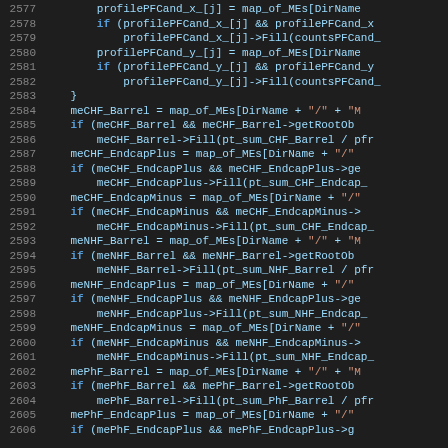[Figure (screenshot): Source code listing in a dark-themed IDE, lines 2577-2606, showing C++ code with syntax highlighting. Line numbers in gray on left, keywords in blue, string literals in orange/red, identifiers in light blue.]